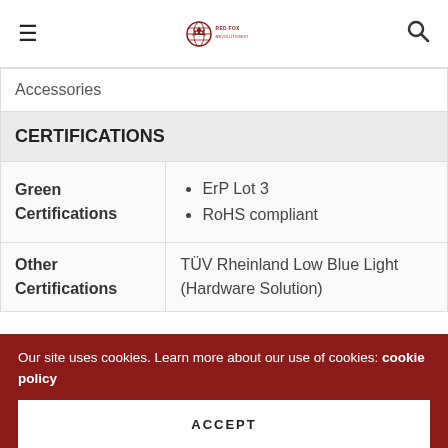≡  [Red Fox Revolutionist logo]  🔍
| Accessories |  |
| CERTIFICATIONS |  |
| Green Certifications | • ErP Lot 3
• RoHS compliant |
| Other Certifications | TÜV Rheinland Low Blue Light (Hardware Solution) |
Share this
Our site uses cookies. Learn more about our use of cookies: cookie policy
ACCEPT